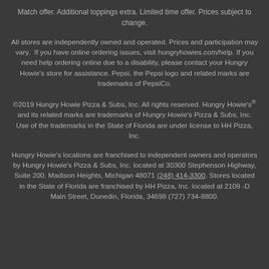receive discount. See prime time PRIZE FIGHTER Match offer. Additional toppings extra. Limited time offer. Prices subject to change.
All stores are independently owned and operated. Prices and participation may vary. If you have online ordering issues, visit hungryhowies.com/help. If you need help ordering online due to a disability, please contact your Hungry Howie's store for assistance. Pepsi, the Pepsi logo and related marks are trademarks of PepsiCo.
©2019 Hungry Howie Pizza & Subs, Inc. All rights reserved. Hungry Howie's® and its related marks are trademarks of Hungry Howie's Pizza & Subs, Inc. Use of the trademarks in the State of Florida are under license to HH Pizza, Inc.
Hungry Howie's locations are franchised to independent owners and operators by Hungry Howie's Pizza & Subs, Inc. located at 30300 Stephenson Highway, Suite 200, Madison Heights, Michigan 48071 (248) 414-3300. Stores located in the State of Florida are franchised by HH Pizza, Inc. located at 2109 -D Main Street, Dunedin, Florida, 34698 (727) 734-8800.